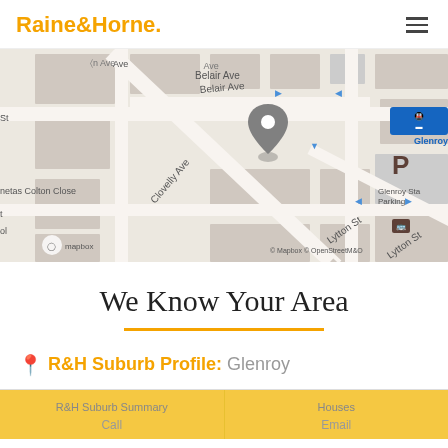Raine&Horne.
[Figure (map): Street map showing Belair Ave, Clovelly Ave, Lytton St, Colton Close area with a location pin marker. Shows Glenroy station and parking area. Map attribution: Mapbox, OpenStreetMap.]
We Know Your Area
R&H Suburb Profile: Glenroy
R&H Suburb Summary
Call
Houses
Email